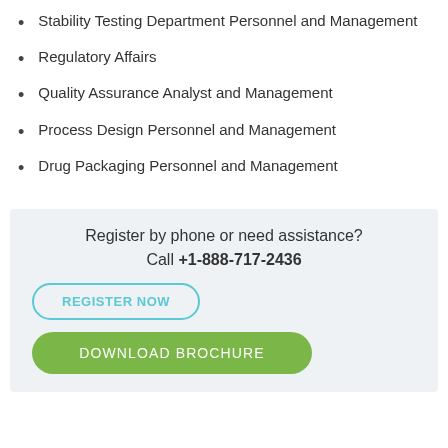Stability Testing Department Personnel and Management
Regulatory Affairs
Quality Assurance Analyst and Management
Process Design Personnel and Management
Drug Packaging Personnel and Management
Register by phone or need assistance?
Call +1-888-717-2436
REGISTER NOW
DOWNLOAD BROCHURE